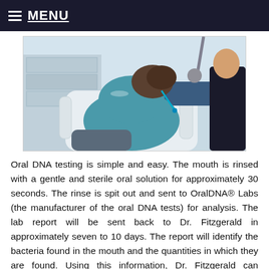MENU
[Figure (photo): A dental patient reclined in a dental chair wearing a teal/blue outfit, with dental equipment visible around them and a practitioner in dark clothing to the right.]
Oral DNA testing is simple and easy. The mouth is rinsed with a gentle and sterile oral solution for approximately 30 seconds. The rinse is spit out and sent to OralDNA® Labs (the manufacturer of the oral DNA tests) for analysis. The lab report will be sent back to Dr. Fitzgerald in approximately seven to 10 days. The report will identify the bacteria found in the mouth and the quantities in which they are found. Using this information, Dr. Fitzgerald can determine oral health issues present, as well as your risk of developing certain oral health and systemic conditions. This information will allow Dr. Fitzgerald to develop a more precise and effective treatment